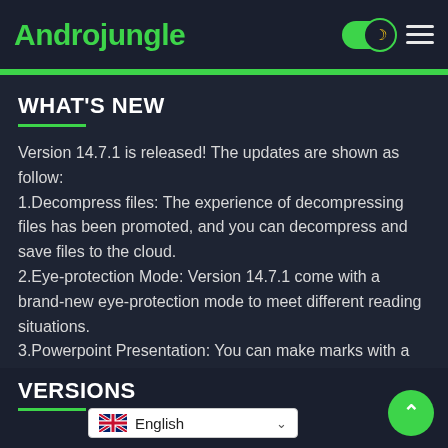Androjungle
WHAT'S NEW
Version 14.7.1 is released! The updates are shown as follow: 1.Decompress files: The experience of decompressing files has been promoted, and you can decompress and save files to the cloud. 2.Eye-protection Mode: Version 14.7.1 come with a brand-new eye-protection mode to meet different reading situations. 3.Powerpoint Presentation: You can make marks with a highlighter during the powerpoint presentation.
VERSIONS
English